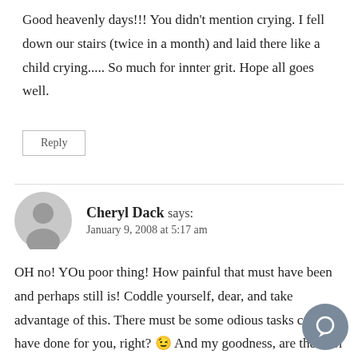Good heavenly days!!! You didn't mention crying. I fell down our stairs (twice in a month) and laid there like a child crying..... So much for innter grit. Hope all goes well.
Reply
Cheryl Dack says:
January 9, 2008 at 5:17 am
OH no! YOu poor thing! How painful that must have been and perhaps still is! Coddle yourself, dear, and take advantage of this. There must be some odious tasks can have done for you, right? 😉 And my goodness, are the cool cucumber leaving us hanging like that, now